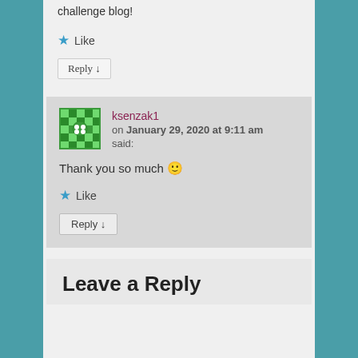challenge blog!
★ Like
Reply ↓
ksenzak1 on January 29, 2020 at 9:11 am said:
Thank you so much 🙂
★ Like
Reply ↓
Leave a Reply